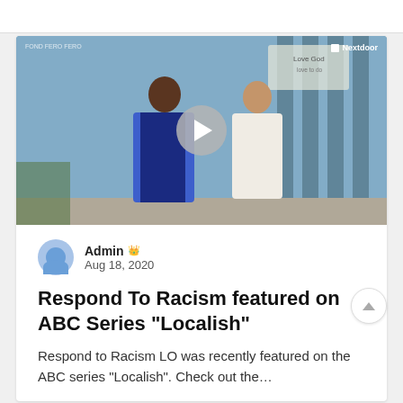[Figure (screenshot): Video thumbnail showing two women talking outside a building. Shows a play button overlay in center, 'Nextdoor' branding in top right, and small text in top left corner.]
Admin 👑
Aug 18, 2020
Respond To Racism featured on ABC Series "Localish"
Respond to Racism LO was recently featured on the ABC series "Localish". Check out the...